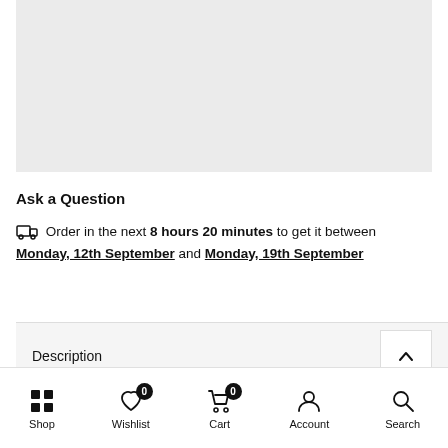[Figure (photo): Gray image placeholder rectangle at the top of the page]
Ask a Question
Order in the next 8 hours 20 minutes to get it between Monday, 12th September and Monday, 19th September
Description
Shop | Wishlist 0 | Cart 0 | Account | Search